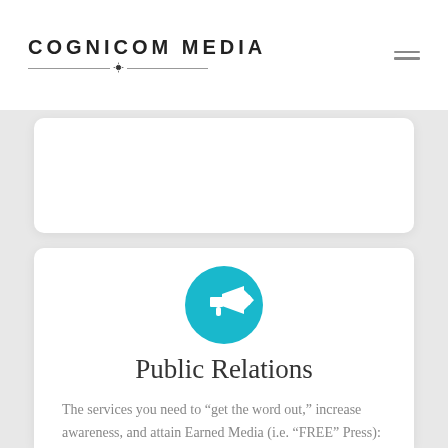COGNICOM MEDIA
[Figure (illustration): Teal circle with white megaphone/bullhorn icon in the center]
Public Relations
The services you need to “get the word out,” increase awareness, and attain Earned Media (i.e. “FREE” Press):
Story/Pitch Development
Press Release Writing + Distribution
Media Outreach + Pitching + Placement